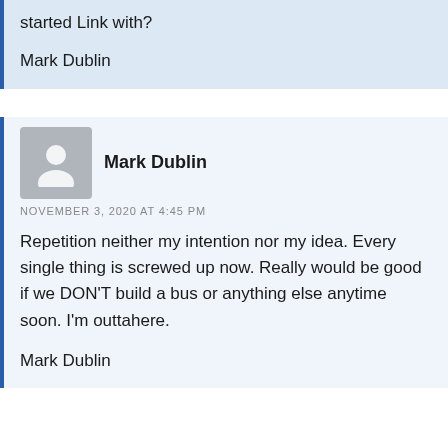started Link with?
Mark Dublin
Mark Dublin
NOVEMBER 3, 2020 AT 4:45 PM
Repetition neither my intention nor my idea. Every single thing is screwed up now. Really would be good if we DON'T build a bus or anything else anytime soon. I'm outtahere.
Mark Dublin